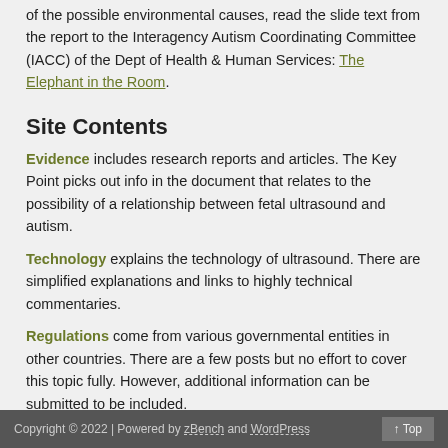of the possible environmental causes, read the slide text from the report to the Interagency Autism Coordinating Committee (IACC) of the Dept of Health & Human Services: The Elephant in the Room.
Site Contents
Evidence includes research reports and articles. The Key Point picks out info in the document that relates to the possibility of a relationship between fetal ultrasound and autism.
Technology explains the technology of ultrasound. There are simplified explanations and links to highly technical commentaries.
Regulations come from various governmental entities in other countries. There are a few posts but no effort to cover this topic fully. However, additional information can be submitted to be included.
Copyright © 2022 | Powered by zBench and WordPress